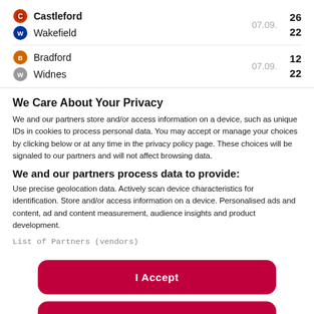Castleford 26 07.09. Wakefield 22
Bradford 12 07.09. Widnes 22
We Care About Your Privacy
We and our partners store and/or access information on a device, such as unique IDs in cookies to process personal data. You may accept or manage your choices by clicking below or at any time in the privacy policy page. These choices will be signaled to our partners and will not affect browsing data.
We and our partners process data to provide:
Use precise geolocation data. Actively scan device characteristics for identification. Store and/or access information on a device. Personalised ads and content, ad and content measurement, audience insights and product development.
List of Partners (vendors)
I Accept
Reject All
Show Purposes